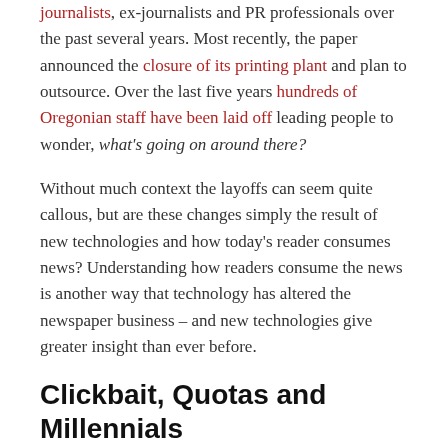journalists, ex-journalists and PR professionals over the past several years. Most recently, the paper announced the closure of its printing plant and plan to outsource. Over the last five years hundreds of Oregonian staff have been laid off leading people to wonder, what's going on around there?
Without much context the layoffs can seem quite callous, but are these changes simply the result of new technologies and how today's reader consumes news? Understanding how readers consume the news is another way that technology has altered the newspaper business – and new technologies give greater insight than ever before.
Clickbait, Quotas and Millennials
News site analytics show an increasing number of readers attracted by clickbait over hard-hitting reporting. This data effects the types of stories news organizations investing...